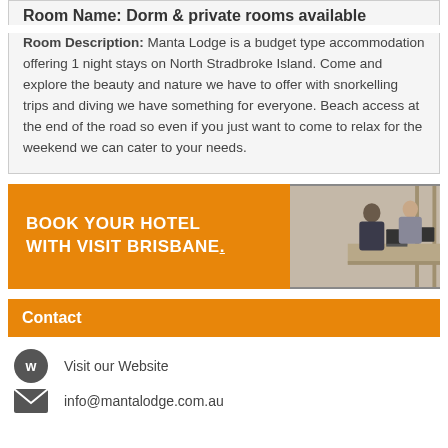Room Name: Dorm & private rooms available
Room Description: Manta Lodge is a budget type accommodation offering 1 night stays on North Stradbroke Island. Come and explore the beauty and nature we have to offer with snorkelling trips and diving we have something for everyone. Beach access at the end of the road so even if you just want to come to relax for the weekend we can cater to your needs.
[Figure (photo): Advertisement banner with orange background on the left showing text 'BOOK YOUR HOTEL WITH VISIT BRISBANE.' and a photo of a hotel reception on the right with two people at a front desk.]
Contact
Visit our Website
info@mantalodge.com.au